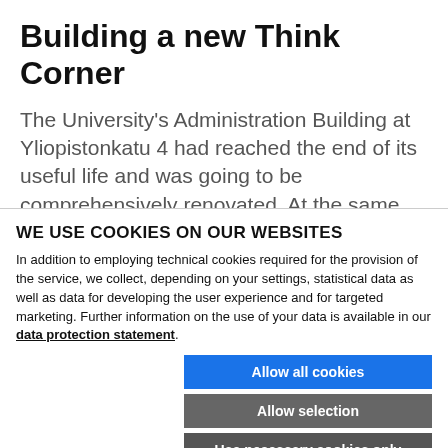Building a new Think Corner
The University's Administration Building at Yliopistonkatu 4 had reached the end of its useful life and was going to be comprehensively renovated. At the same time, the University wanted to change the facility
WE USE COOKIES ON OUR WEBSITES
In addition to employing technical cookies required for the provision of the service, we collect, depending on your settings, statistical data as well as data for developing the user experience and for targeted marketing. Further information on the use of your data is available in our data protection statement.
Allow all cookies
Allow selection
Use necessary cookies only
Necessary technical cookies   Functional cookies   Statistics cookies   Marketing cookies   Show details